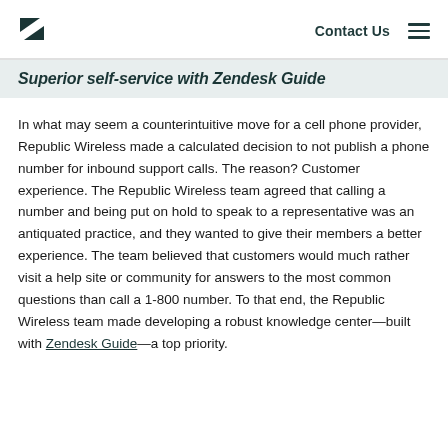Contact Us
Superior self-service with Zendesk Guide
In what may seem a counterintuitive move for a cell phone provider, Republic Wireless made a calculated decision to not publish a phone number for inbound support calls. The reason? Customer experience. The Republic Wireless team agreed that calling a number and being put on hold to speak to a representative was an antiquated practice, and they wanted to give their members a better experience. The team believed that customers would much rather visit a help site or community for answers to the most common questions than call a 1-800 number. To that end, the Republic Wireless team made developing a robust knowledge center—built with Zendesk Guide—a top priority.